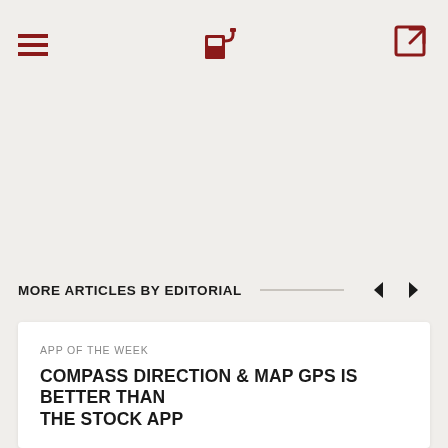Fueled app - header navigation with hamburger menu, fuel pump logo, and share icon
MORE ARTICLES BY EDITORIAL
COMPASS DIRECTION & MAP GPS IS BETTER THAN THE STOCK APP
APP OF THE WEEK
Any chance I have to highlight an up-and-coming young de...
by Fueled on May 11, 2022